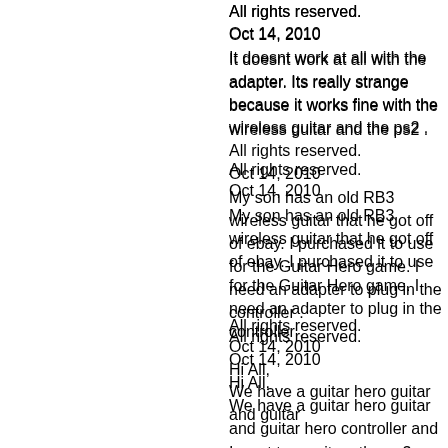All rights reserved.
Oct 14, 2010
It doesnt work at all with the adapter. Its really strange because it works fine with the wireless guitar and the ps2 .
All rights reserved.
Oct 14, 2010
My son has an old RB3 wireless guitar that he got off of ebay. I purchased it to use for the Guitar Hero game. I need an adapter to plug in the controller .
All rights reserved.
Oct 14, 2010
Hi All,
We have a guitar hero guitar and guitar hero controller and I want to use it on the ps3. The original guitar hero guitar doesnt work with the ps3 because there is no adapter and I dont know why. So I bought the RB3 wireless guitar .
Oct 15, 2010